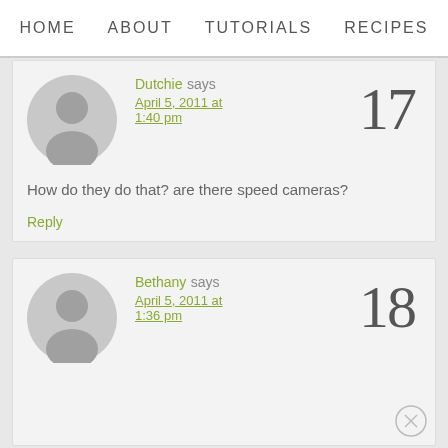HOME   ABOUT   TUTORIALS   RECIPES
Dutchie says April 5, 2011 at 1:40 pm   17   How do they do that? are there speed cameras?
Reply
Bethany says April 5, 2011 at 1:36 pm   18